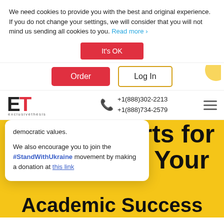We need cookies to provide you with the best and original experience. If you do not change your settings, we will consider that you will not mind us sending all cookies to you. Read more ›
It’s OK
Order
Log In
[Figure (logo): ET exclusivethesis logo with bold red T]
+1(888)302-2213
+1(888)734-2579
democratic values.
We also encourage you to join the #StandWithUkraine movement by making a donation at this link
erts for e Your Academic Success